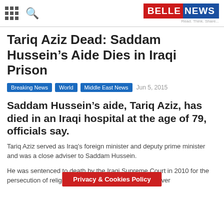BELLENEWS Read. Think. Share...
Tariq Aziz Dead: Saddam Hussein’s Aide Dies in Iraqi Prison
Breaking News  World  Middle East News  Jun 5, 2015
Saddam Hussein’s aide, Tariq Aziz, has died in an Iraqi hospital at the age of 79, officials say.
Tariq Aziz served as Iraq’s foreign minister and deputy prime minister and was a close adviser to Saddam Hussein.
He was sentenced to death by the Iraqi Supreme Court in 2010 for the persecution of religious partie... was never
Privacy & Cookies Policy